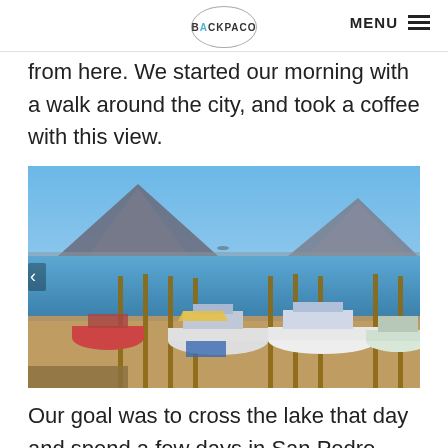BACKPACO | MENU
from here. We started our morning with a walk around the city, and took a coffee with this view.
[Figure (photo): A lakeside dock with several motorboats moored along wooden piers. In the background, two large volcanoes rise above a calm blue lake under a clear sky.]
Our goal was to cross the lake that day and spend a few days in San Pedro. The boats in the main section are a rip-off for tourists, to take a boat with the local,